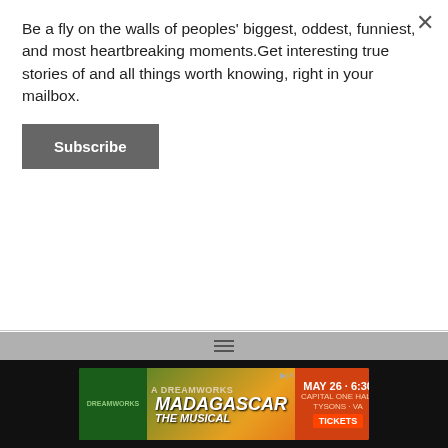Be a fly on the walls of peoples' biggest, oddest, funniest, and most heartbreaking moments.Get interesting true stories of and all things worth knowing, right in your mailbox.
Subscribe
Sex Therapists Reveal What They Wish More People Knew About … ›
Psychologists Describe The Most Difficult Patients To Work With … ›
Psychologists Imagine How They Would Diagnose God Based On … ›
Psychologists Diagnose Favorite Fictional
[Figure (screenshot): Madagascar The Musical advertisement banner: MAY 26 · 6:30, CAPITAL ONE HALL, TYSONS · VA, TICKETS]